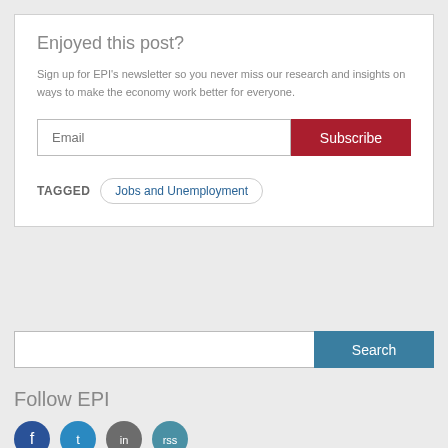Enjoyed this post?
Sign up for EPI's newsletter so you never miss our research and insights on ways to make the economy work better for everyone.
Email | Subscribe
TAGGED  Jobs and Unemployment
Search
Follow EPI